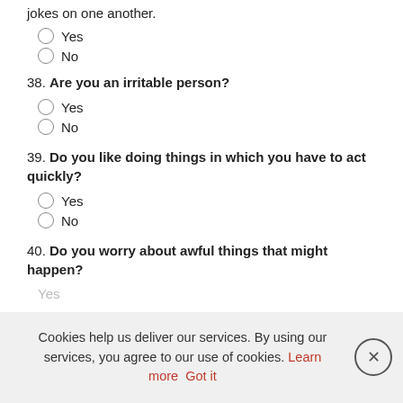jokes on one another.
Yes
No
38. Are you an irritable person?
Yes
No
39. Do you like doing things in which you have to act quickly?
Yes
No
40. Do you worry about awful things that might happen?
Yes
No
Cookies help us deliver our services. By using our services, you agree to our use of cookies. Learn more  Got it